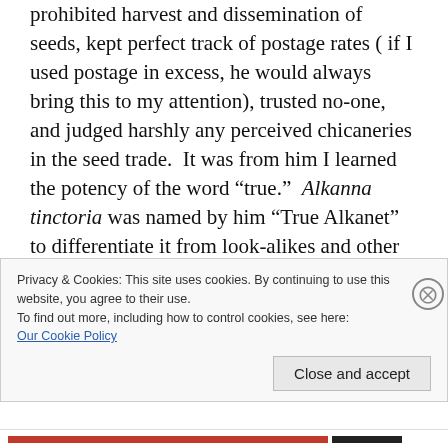prohibited harvest and dissemination of seeds, kept perfect track of postage rates ( if I used postage in excess, he would always bring this to my attention), trusted no-one,  and judged harshly any perceived chicaneries in the seed trade.  It was from him I learned the potency of the word “true.”  Alkanna tinctoria was named by him “True Alkanet” to differentiate it from look-alikes and other mislabeled Boraginacea that were passed off by traders as “Alkanet” simply because the name sold seeds.  To Sir Henry, there was only one True Alkanet, and this was
Privacy & Cookies: This site uses cookies. By continuing to use this website, you agree to their use.
To find out more, including how to control cookies, see here:
Our Cookie Policy
Close and accept